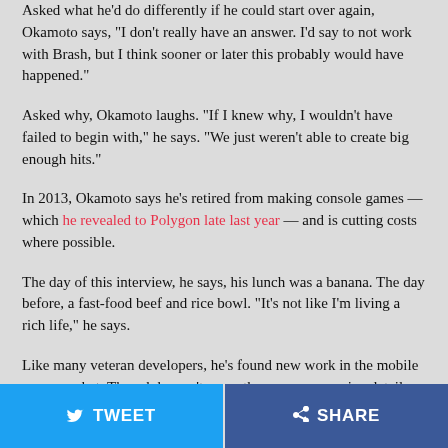Asked what he'd do differently if he could start over again, Okamoto says, "I don't really have an answer. I'd say to not work with Brash, but I think sooner or later this probably would have happened."
Asked why, Okamoto laughs. "If I knew why, I wouldn't have failed to begin with," he says. "We just weren't able to create big enough hits."
In 2013, Okamoto says he's retired from making console games — which he revealed to Polygon late last year — and is cutting costs where possible.
The day of this interview, he says, his lunch was a banana. The day before, a fast-food beef and rice bowl. "It's not like I'm living a rich life," he says.
Like many veteran developers, he's found new work in the mobile game market. Though he can't name the company or give details on
TWEET   SHARE